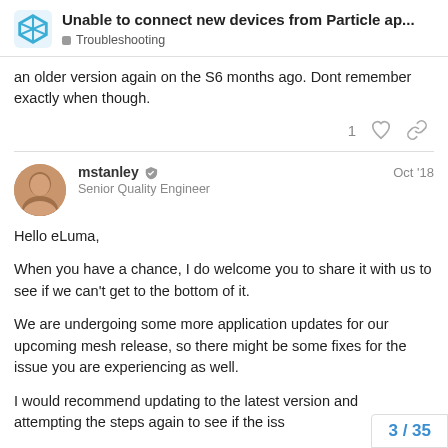Unable to connect new devices from Particle ap... | Troubleshooting
an older version again on the S6 months ago. Dont remember exactly when though.
1 ♡ 🔗
mstanley 🛡 Senior Quality Engineer Oct '18
Hello eLuma,
When you have a chance, I do welcome you to share it with us to see if we can't get to the bottom of it.
We are undergoing some more application updates for our upcoming mesh release, so there might be some fixes for the issue you are experiencing as well.
I would recommend updating to the latest v... and attempting the steps again to see if the iss...
3 / 35